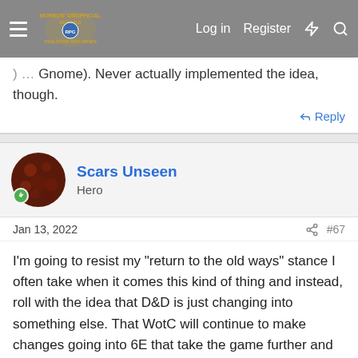Morrus' Unofficial Tabletop RPG News — Log in | Register
Gnome). Never actually implemented the idea, though.
Reply
Scars Unseen
Hero
Jan 13, 2022  #67
I'm going to resist my "return to the old ways" stance I often take when it comes this kind of thing and instead, roll with the idea that D&D is just changing into something else. That WotC will continue to make changes going into 6E that take the game further and further from what they inherited from TSR.